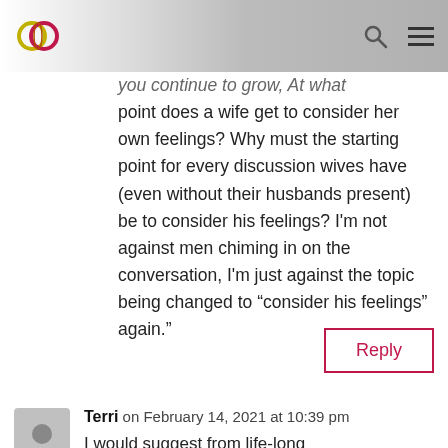[Navigation bar with logo, search icon, and hamburger menu]
you continue to grow, At what point does a wife get to consider her own feelings? Why must the starting point for every discussion wives have (even without their husbands present) be to consider his feelings? I'm not against men chiming in on the conversation, I'm just against the topic being changed to “consider his feelings” again.”
Reply
Terri on February 14, 2021 at 10:39 pm
I would suggest from life-long